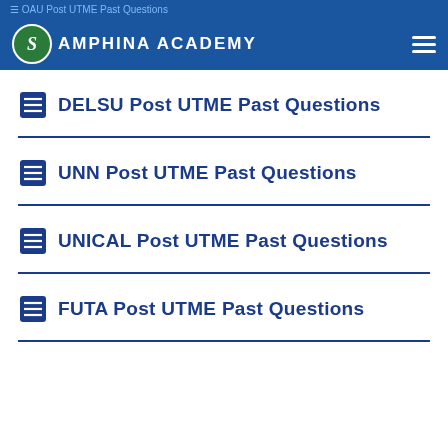OAU Post UTME Past Questions
Samphina Academy
DELSU Post UTME Past Questions
UNN Post UTME Past Questions
UNICAL Post UTME Past Questions
FUTA Post UTME Past Questions